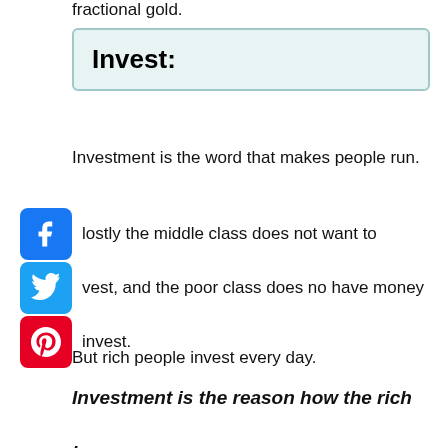fractional gold.
Invest:
Investment is the word that makes people run.
Mostly the middle class does not want to invest, and the poor class does no have money to invest.
But rich people invest every day.
Investment is the reason how the rich become more prosperous.